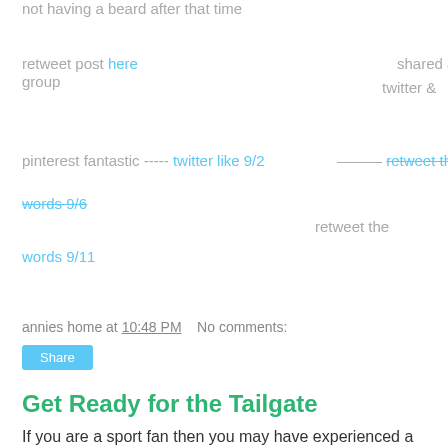not having a beard after that time
retweet post here    shared at fb group   twitter &   retweet the words 9/6   retweet the words 9/11
pinterest fantastic ----- twitter like 9/2
annies home at 10:48 PM   No comments:
Share
Get Ready for the Tailgate
If you are a sport fan then you may have experienced a